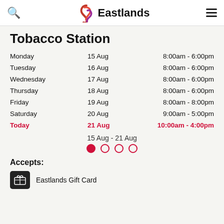Eastlands
Tobacco Station
| Day | Date | Hours |
| --- | --- | --- |
| Monday | 15 Aug | 8:00am - 6:00pm |
| Tuesday | 16 Aug | 8:00am - 6:00pm |
| Wednesday | 17 Aug | 8:00am - 6:00pm |
| Thursday | 18 Aug | 8:00am - 6:00pm |
| Friday | 19 Aug | 8:00am - 8:00pm |
| Saturday | 20 Aug | 9:00am - 5:00pm |
| Today | 21 Aug | 10:00am - 4:00pm |
15 Aug - 21 Aug
Accepts:
Eastlands Gift Card